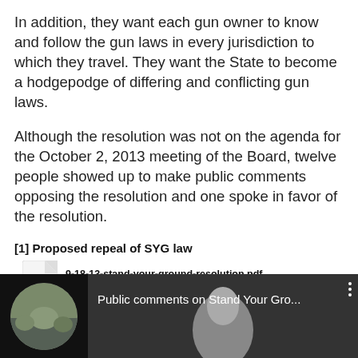In addition, they want each gun owner to know and follow the gun laws in every jurisdiction to which they travel. They want the State to become a hodgepodge of differing and conflicting gun laws.
Although the resolution was not on the agenda for the October 2, 2013 meeting of the Board, twelve people showed up to make public comments opposing the resolution and one spoke in favor of the resolution.
[1] Proposed repeal of SYG law
9-18-13-stand-your-ground-resolution.pdf
Download File
[Figure (screenshot): Video thumbnail showing 'Public comments on Stand Your Gro...' with a circular thumbnail of people in what appears to be a meeting room, on a dark background.]